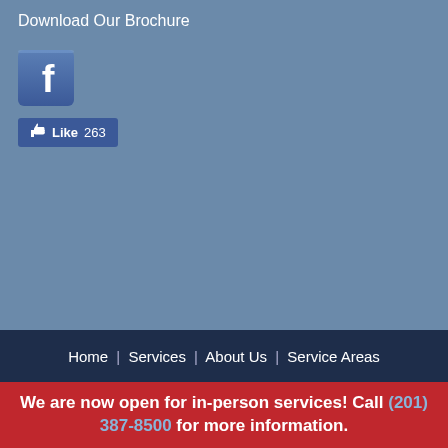Download Our Brochure
[Figure (logo): Facebook logo icon — blue square with white 'f' letter]
[Figure (screenshot): Facebook Like button showing thumbs up icon, 'Like' text, and count 263]
Home | Services | About Us | Service Areas
We are now open for in-person services! Call (201) 387-8500 for more information.